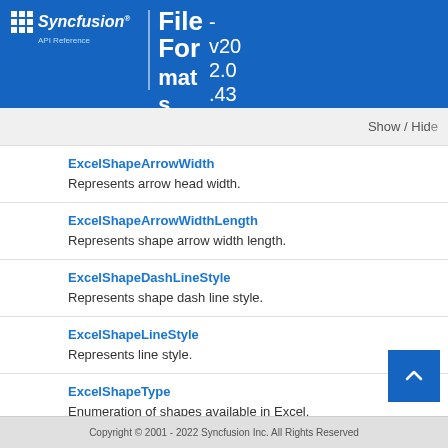Syncfusion API Reference | File Formats v20.2.0.43
Show / Hide
ExcelShapeArrowWidth
Represents arrow head width.
ExcelShapeArrowWidthLength
Represents shape arrow width length.
ExcelShapeDashLineStyle
Represents shape dash line style.
ExcelShapeLineStyle
Represents line style.
ExcelShapeType
Enumeration of shapes available in Excel.
Copyright © 2001 - 2022 Syncfusion Inc. All Rights Reserved